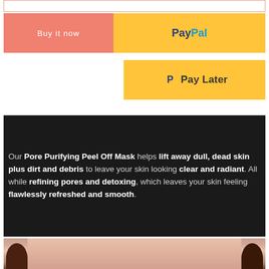[Figure (screenshot): Top bar outline (input field or search bar border)]
[Figure (screenshot): Buy it now button (salmon/coral) on the left, PayPal button (yellow with PayPal logo in blue) on the right]
[Figure (screenshot): Pay Later button (yellow with PayPal P icon) on the right side]
Our Pore Purifying Peel Off Mask helps lift away dull, dead skin plus dirt and debris to leave your skin looking clear and radiant. All while refining pores and detoxing, which leaves your skin feeling flawlessly refreshed and smooth.
[Figure (photo): Close-up photo of a person's face/chin area, partially visible at the bottom of the page]